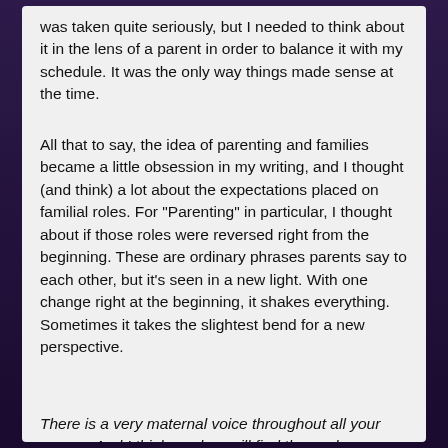was taken quite seriously, but I needed to think about it in the lens of a parent in order to balance it with my schedule. It was the only way things made sense at the time.
All that to say, the idea of parenting and families became a little obsession in my writing, and I thought (and think) a lot about the expectations placed on familial roles. For "Parenting" in particular, I thought about if those roles were reversed right from the beginning. These are ordinary phrases parents say to each other, but it's seen in a new light. With one change right at the beginning, it shakes everything. Sometimes it takes the slightest bend for a new perspective.
There is a very maternal voice throughout all your poems. And I think readers will find themselves moved and reminded of some moment they had or did not have with their parent or parents. When reading “Spain”, the narrator feels this sense of duty to her mother, as her mother enters a different chapter in her life. In a way, the once-child is now responsible for the parent. Do you think, you as a